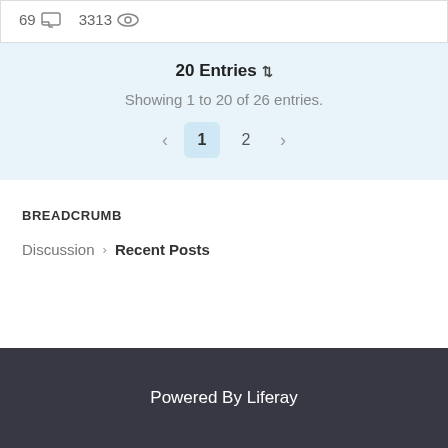69 [comment icon] 3313 [view icon]
20 Entries ⬍
Showing 1 to 20 of 26 entries.
< 1 2 >
BREADCRUMB
Discussion > Recent Posts
Powered By Liferay